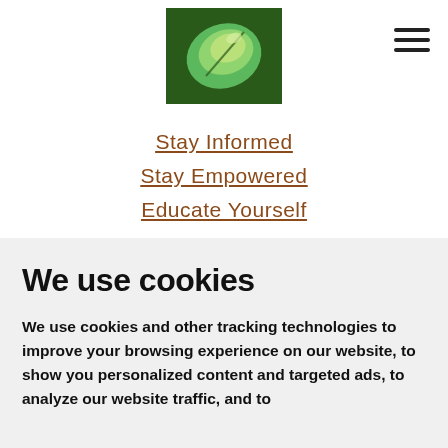[Figure (logo): Green leaf logo image in center top of page]
[Figure (illustration): Hamburger menu icon (three horizontal lines) in top right corner]
Stay Informed
Stay Empowered
Educate Yourself
We use cookies
We use cookies and other tracking technologies to improve your browsing experience on our website, to show you personalized content and targeted ads, to analyze our website traffic, and to